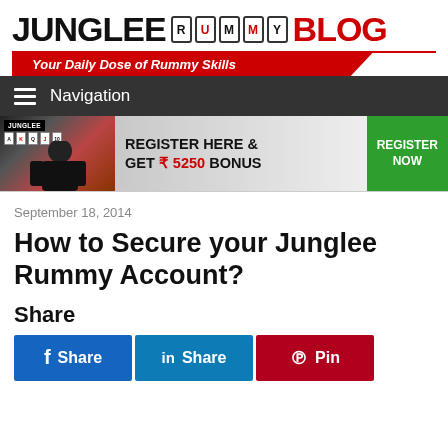JUNGLEE RUMMY BLOG — Your Daily Dose of Rummy Skills
Navigation
[Figure (infographic): Junglee Rummy advertisement banner: Register Here & Get ₹5250 Bonus — Register Now button]
September 18, 2014
How to Secure your Junglee Rummy Account?
Share
Share  Share  Pin